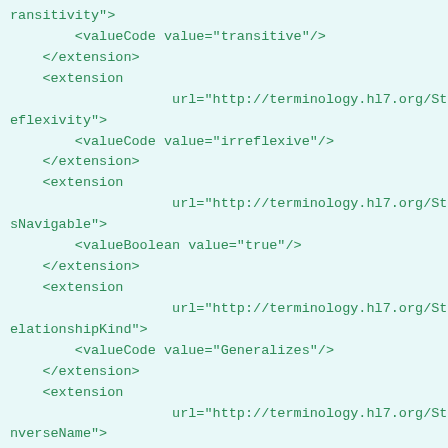ransitivity">
        <valueCode value="transitive"/>
    </extension>
    <extension
                    url="http://terminology.hl7.org/StructureDefi
eflexivity">
        <valueCode value="irreflexive"/>
    </extension>
    <extension
                    url="http://terminology.hl7.org/StructureDefi
sNavigable">
        <valueBoolean value="true"/>
    </extension>
    <extension
                    url="http://terminology.hl7.org/StructureDefi
elationshipKind">
        <valueCode value="Generalizes"/>
    </extension>
    <extension
                    url="http://terminology.hl7.org/StructureDefi
nverseName">
        <valueString value="Specializes"/>
    </extension>
    <code value="Generalizes"/>
    <description
                    value="Inverse of Specializes.  Only includ